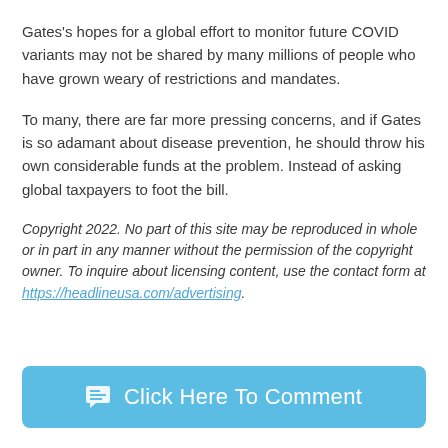Gates's hopes for a global effort to monitor future COVID variants may not be shared by many millions of people who have grown weary of restrictions and mandates.
To many, there are far more pressing concerns, and if Gates is so adamant about disease prevention, he should throw his own considerable funds at the problem. Instead of asking global taxpayers to foot the bill.
Copyright 2022. No part of this site may be reproduced in whole or in part in any manner without the permission of the copyright owner. To inquire about licensing content, use the contact form at https://headlineusa.com/advertising.